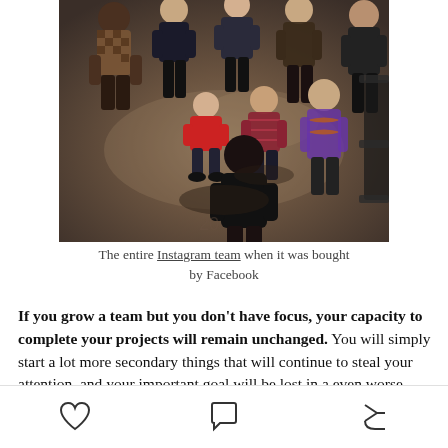[Figure (photo): Overhead/tilted view of a group of people (the Instagram team) standing in a room with a dark concrete floor, viewed from above.]
The entire Instagram team when it was bought by Facebook
If you grow a team but you don't have focus, your capacity to complete your projects will remain unchanged. You will simply start a lot more secondary things that will continue to steal your attention, and your important goal will be lost in a even worse mess of
[heart icon] [comment icon] [share icon]